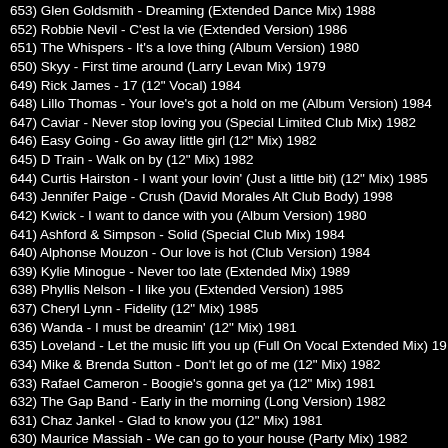653) Glen Goldsmith - Dreaming (Extended Dance Mix) 1988
652) Robbie Nevil - C'est la vie (Extended Version) 1986
651) The Whispers - It's a love thing (Album Version) 1980
650) Skyy - First time around (Larry Levan Mix) 1979
649) Rick James - 17 (12" Vocal) 1984
648) Lillo Thomas - Your love's got a hold on me (Album Version) 1984
647) Caviar - Never stop loving you (Special Limited Club Mix) 1982
646) Easy Going - Go away little girl (12" Mix) 1982
645) D Train - Walk on by (12" Mix) 1982
644) Curtis Hairston - I want your lovin' (Just a little bit) (12" Mix) 1985
643) Jennifer Paige - Crush (David Morales Alt Club Body) 1998
642) Kwick - I want to dance with you (Album Version) 1980
641) Ashford & Simpson - Solid (Special Club Mix) 1984
640) Alphonse Mouzon - Our love is hot (Club Version) 1984
639) Kylie Minogue - Never too late (Extended Mix) 1989
638) Phyllis Nelson - I like you (Extended Version) 1985
637) Cheryl Lynn - Fidelity (12" Mix) 1985
636) Wanda - I must be dreamin' (12" Mix) 1981
635) Loveland - Let the music lift you up (Full On Vocal Extended Mix) 19...
634) Mike & Brenda Sutton - Don't let go of me (12" Mix) 1982
633) Rafael Cameron - Boogie's gonna get ya (12" Mix) 1981
632) The Gap Band - Early in the morning (Long Version) 1982
631) Chaz Jankel - Glad to know you (12" Mix) 1981
630) Maurice Massiah - We can go to your house (Party Mix) 1982